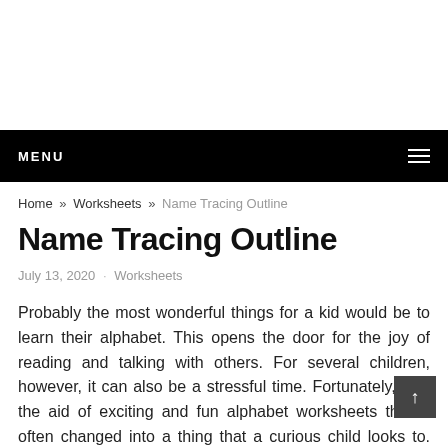MENU
Home » Worksheets » Name Tracing Outline
Name Tracing Outline
July 13, 2020 · Worksheets
Probably the most wonderful things for a kid would be to learn their alphabet. This opens the door for the joy of reading and talking with others. For several children, however, it can also be a stressful time. Fortunately, with the aid of exciting and fun alphabet worksheets this is often changed into a thing that a curious child looks to. Turning the learning experience into a fun